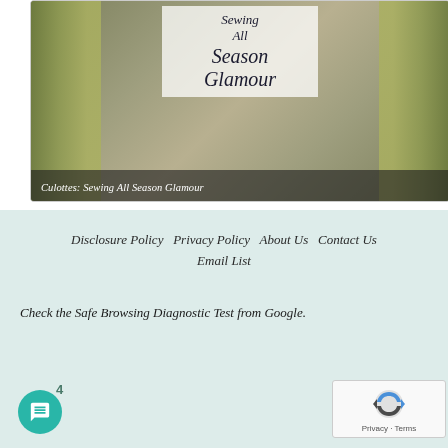[Figure (photo): Screenshot of a blog or website page showing a featured image for a sewing post titled 'Culottes: Sewing All Season Glamour'. The image shows two views of green textured culottes/wide-leg pants with a white overlay in the center displaying the stylized text 'Sewing All Season Glamour'. Below the image is a dark caption bar with the text 'Culottes: Sewing All Season Glamour' in white italic font.]
Disclosure Policy  Privacy Policy  About Us  Contact Us  Email List
Check the Safe Browsing Diagnostic Test from Google.